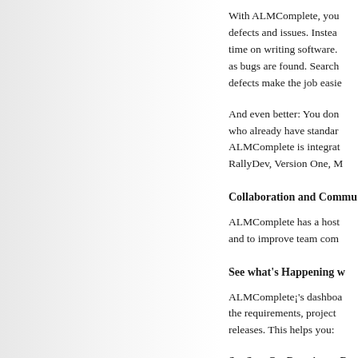With ALMComplete, you defects and issues. Instead time on writing software. as bugs are found. Search defects make the job easier.
And even better: You don who already have standards. ALMComplete is integrated RallyDev, Version One, M
Collaboration and Comm
ALMComplete has a host and to improve team comm
See what's Happening w
ALMComplete¡'s dashboa the requirements, project releases. This helps you:
SaaS or On-Premise to P
Because ALMComplete is Service), you can lower th